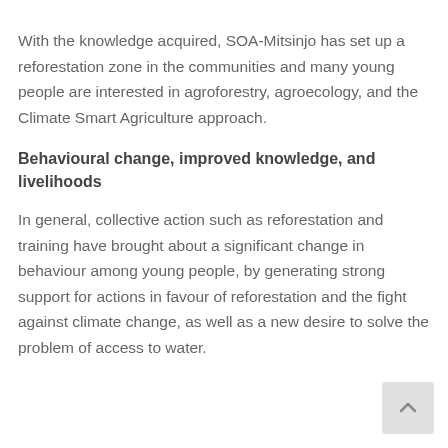With the knowledge acquired, SOA-Mitsinjo has set up a reforestation zone in the communities and many young people are interested in agroforestry, agroecology, and the Climate Smart Agriculture approach.
Behavioural change, improved knowledge, and livelihoods
In general, collective action such as reforestation and training have brought about a significant change in behaviour among young people, by generating strong support for actions in favour of reforestation and the fight against climate change, as well as a new desire to solve the problem of access to water.